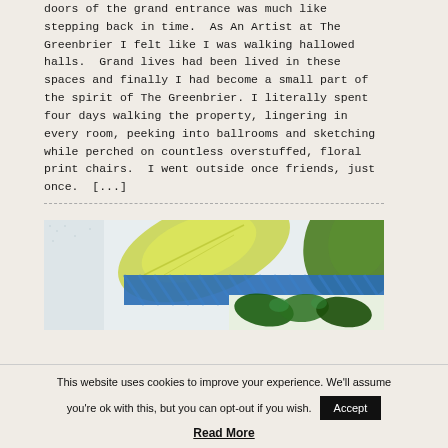doors of the grand entrance was much like stepping back in time.  As An Artist at The Greenbrier I felt like I was walking hallowed halls.  Grand lives had been lived in these spaces and finally I had become a small part of the spirit of The Greenbrier. I literally spent four days walking the property, lingering in every room, peeking into ballrooms and sketching while perched on countless overstuffed, floral print chairs.  I went outside once friends, just once.  [...]
[Figure (photo): Close-up artwork or collage featuring green and yellow botanical/leaf forms with a blue diagonal striped band across the middle, and a smaller inset image of dark green leaves in the lower right.]
This website uses cookies to improve your experience. We'll assume you're ok with this, but you can opt-out if you wish.
Accept
Read More